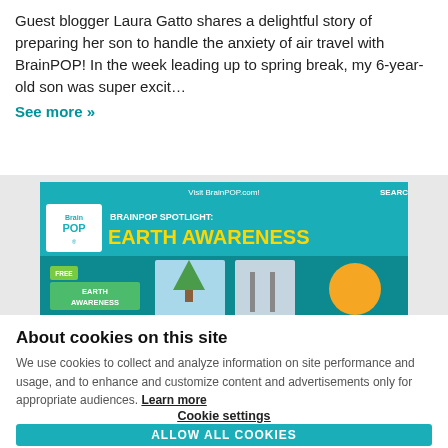Guest blogger Laura Gatto shares a delightful story of preparing her son to handle the anxiety of air travel with BrainPOP! In the week leading up to spring break, my 6-year-old son was super excit…
See more »
[Figure (screenshot): BrainPOP Spotlight: Earth Awareness banner advertisement with logo, golden text headline, and free Earth Awareness button]
About cookies on this site
We use cookies to collect and analyze information on site performance and usage, and to enhance and customize content and advertisements only for appropriate audiences. Learn more
Cookie settings
ALLOW ALL COOKIES